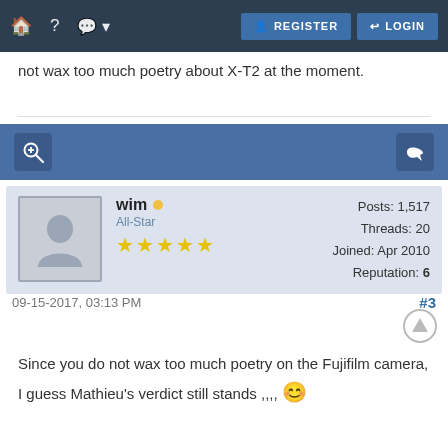🏠 ? 💬 ▾  REGISTER  LOGIN
not wax too much poetry about X-T2 at the moment.
[Figure (infographic): Forum action bar with zoom/search icon on left and reply icon on right, blue background]
[Figure (infographic): Forum user card with avatar placeholder, username 'wim', All-Star rank, 5 stars, Posts: 1,517, Threads: 20, Joined: Apr 2010, Reputation: 6]
09-15-2017, 03:13 PM   #3
Since you do not wax too much poetry on the Fujifilm camera, I guess Mathieu's verdict still stands ,,,, 😊